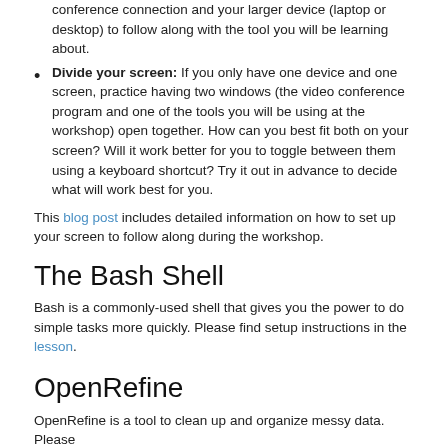conference connection and your larger device (laptop or desktop) to follow along with the tool you will be learning about.
Divide your screen: If you only have one device and one screen, practice having two windows (the video conference program and one of the tools you will be using at the workshop) open together. How can you best fit both on your screen? Will it work better for you to toggle between them using a keyboard shortcut? Try it out in advance to decide what will work best for you.
This blog post includes detailed information on how to set up your screen to follow along during the workshop.
The Bash Shell
Bash is a commonly-used shell that gives you the power to do simple tasks more quickly. Please find setup instructions in the lesson.
OpenRefine
OpenRefine is a tool to clean up and organize messy data. Please